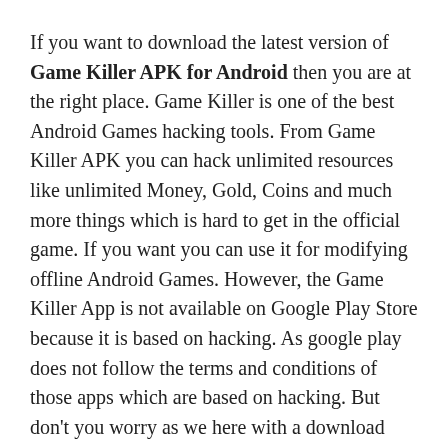If you want to download the latest version of Game Killer APK for Android then you are at the right place. Game Killer is one of the best Android Games hacking tools. From Game Killer APK you can hack unlimited resources like unlimited Money, Gold, Coins and much more things which is hard to get in the official game. If you want you can use it for modifying offline Android Games. However, the Game Killer App is not available on Google Play Store because it is based on hacking. As google play does not follow the terms and conditions of those apps which are based on hacking. But don't you worry as we here with a download link of Game Killer APK. Go through the whole article to know everything in detail.